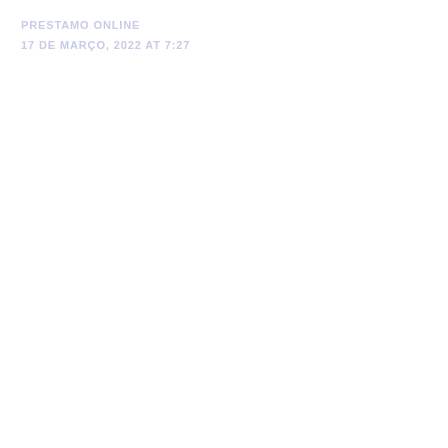PRESTAMO ONLINE
17 DE MARÇO, 2022 AT 7:27